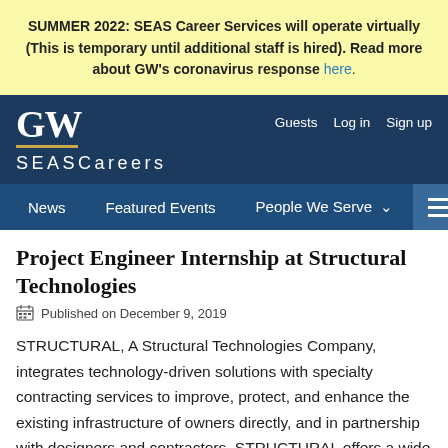SUMMER 2022: SEAS Career Services will operate virtually (This is temporary until additional staff is hired). Read more about GW's coronavirus response here.
GW SEAS Careers — Guests  Log in  Sign up
News  Featured Events  People We Serve
Project Engineer Internship at Structural Technologies
Published on December 9, 2019
STRUCTURAL, A Structural Technologies Company, integrates technology-driven solutions with specialty contracting services to improve, protect, and enhance the existing infrastructure of owners directly, and in partnership with designers and contractors. STRUCTURAL offers a wide range of specialty repair